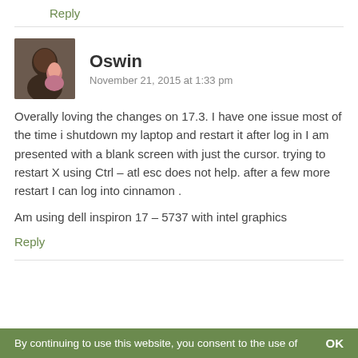Reply
[Figure (photo): Avatar photo of Oswin showing two people]
Oswin
November 21, 2015 at 1:33 pm
Overally loving the changes on 17.3. I have one issue most of the time i shutdown my laptop and restart it after log in I am presented with a blank screen with just the cursor. trying to restart X using Ctrl – atl esc does not help. after a few more restart I can log into cinnamon .
Am using dell inspiron 17 – 5737 with intel graphics
Reply
By continuing to use this website, you consent to the use of   OK